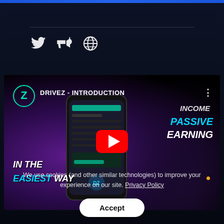[Figure (screenshot): Drivez introduction YouTube video thumbnail showing a phone mockup with app interface, purple/dark background, text overlays: IN THE EASIEST WAY, PASSIVE EARNING, INCOME]
We use cookies (and other similar technologies) to improve your experience on our site. Privacy Policy
Accept